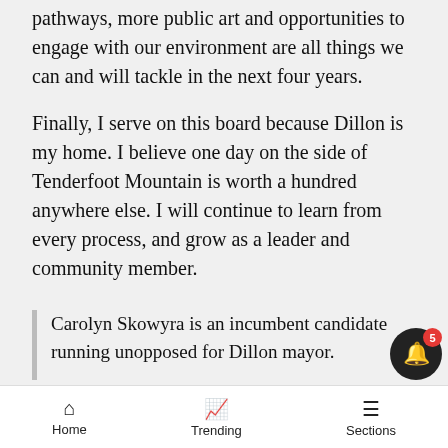pathways, more public art and opportunities to engage with our environment are all things we can and will tackle in the next four years.
Finally, I serve on this board because Dillon is my home. I believe one day on the side of Tenderfoot Mountain is worth a hundred anywhere else. I will continue to learn from every process, and grow as a leader and community member.
Carolyn Skowyra is an incumbent candidate running unopposed for Dillon mayor.
Election